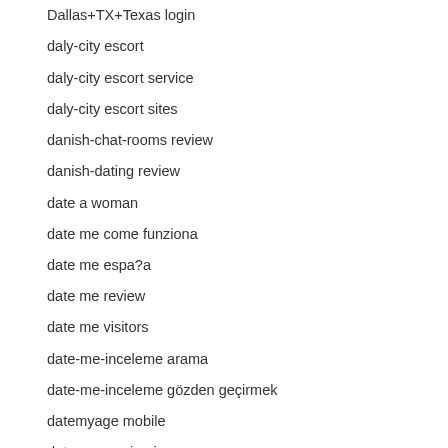Dallas+TX+Texas login
daly-city escort
daly-city escort service
daly-city escort sites
danish-chat-rooms review
danish-dating review
date a woman
date me come funziona
date me espa?a
date me review
date me visitors
date-me-inceleme arama
date-me-inceleme gözden geçirmek
datemyage mobile
datemyage sign in